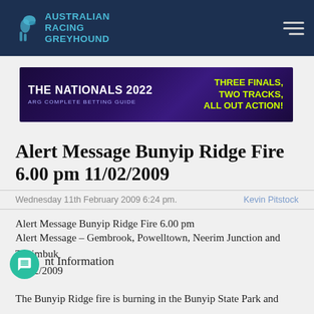Australian Racing Greyhound
[Figure (other): The Nationals 2022 ARG Complete Betting Guide banner advertisement - Three Finals, Two Tracks, All Out Action!]
Alert Message Bunyip Ridge Fire 6.00 pm 11/02/2009
Wednesday 11th February 2009 6:24 pm.    Kevin Pitstock
Alert Message Bunyip Ridge Fire 6.00 pm
Alert Message – Gembrook, Powelltown, Neerim Junction and Tonimbuk
11/02/2009
Relevant Information
The Bunyip Ridge fire is burning in the Bunyip State Park and